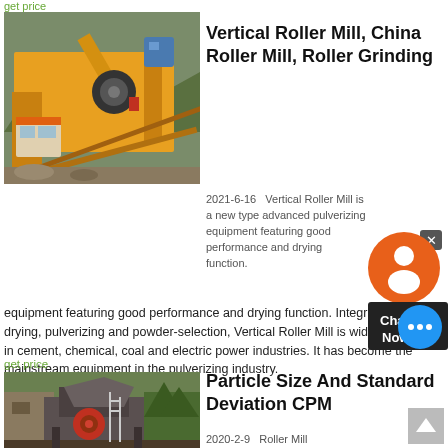get price
[Figure (photo): Large yellow industrial crushing/screening machine on a construction site with mountains in background]
Vertical Roller Mill, China Roller Mill, Roller Grinding
2021-6-16   Vertical Roller Mill is a new type advanced pulverizing equipment featuring good performance and drying function. Integrated with drying, pulverizing and powder-selection, Vertical Roller Mill is widely applied in cement, chemical, coal and electric power industries. It has become the mainstream equipment in the pulverizing industry.
get price
[Figure (photo): Industrial crusher/mill equipment outdoors with trees in background]
Particle Size And Standard Deviation CPM
2020-2-9   Roller Mill